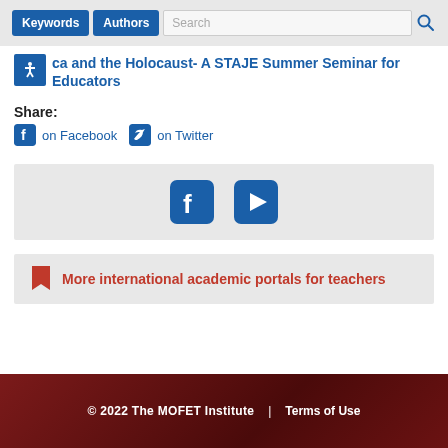Keywords | Authors | Search
ca and the Holocaust- A STAJE Summer Seminar for Educators
Share:
on Facebook  on Twitter
[Figure (logo): Social media icons: Facebook and YouTube/video play button]
More international academic portals for teachers
© 2022 The MOFET Institute  |  Terms of Use